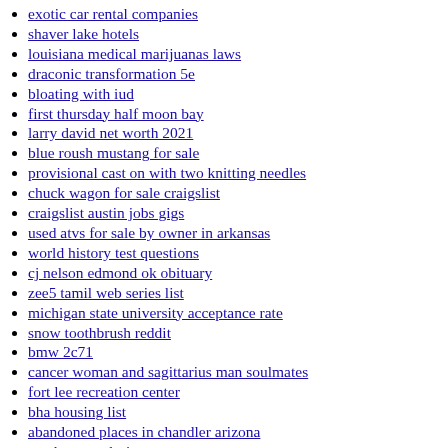exotic car rental companies
shaver lake hotels
louisiana medical marijuanas laws
draconic transformation 5e
bloating with iud
first thursday half moon bay
larry david net worth 2021
blue roush mustang for sale
provisional cast on with two knitting needles
chuck wagon for sale craigslist
craigslist austin jobs gigs
used atvs for sale by owner in arkansas
world history test questions
cj nelson edmond ok obituary
zee5 tamil web series list
michigan state university acceptance rate
snow toothbrush reddit
bmw 2c71
cancer woman and sagittarius man soulmates
fort lee recreation center
bha housing list
abandoned places in chandler arizona
mack cars coloring page
bear tracks cabins tennessee
palm beach county school board meeting